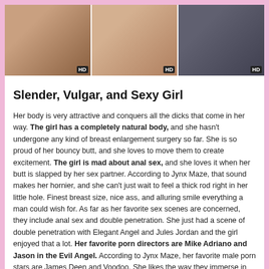[Figure (photo): Three side-by-side adult content thumbnail images, each with an HD badge in the lower right corner.]
Slender, Vulgar, and Sexy Girl
Her body is very attractive and conquers all the dicks that come in her way. The girl has a completely natural body, and she hasn't undergone any kind of breast enlargement surgery so far. She is so proud of her bouncy butt, and she loves to move them to create excitement. The girl is mad about anal sex, and she loves it when her butt is slapped by her sex partner. According to Jynx Maze, that sound makes her hornier, and she can't just wait to feel a thick rod right in her little hole. Finest breast size, nice ass, and alluring smile everything a man could wish for. As far as her favorite sex scenes are concerned, they include anal sex and double penetration. She just had a scene of double penetration with Elegant Angel and Jules Jordan and the girl enjoyed that a lot. Her favorite porn directors are Mike Adriano and Jason in the Evil Angel. According to Jynx Maze, her favorite male porn stars are James Deen and Voodoo. She likes the way they immerse in